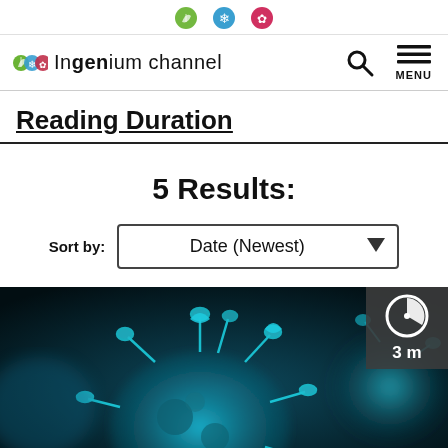[Figure (logo): Ingenium Channel logo with three circular icons (green leaf, blue snowflake, red/pink flower) and text 'Ingenium channel']
Ingenium channel — navigation bar with search and menu icons
Reading Duration
5 Results:
Sort by: Date (Newest)
[Figure (photo): Close-up microscope image of coronavirus/COVID-19 particles on dark teal/blue background, with a timer badge showing '3 m' reading duration in top-right corner]